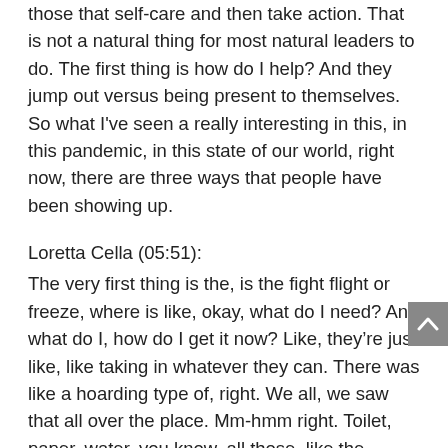those that self-care and then take action. That is not a natural thing for most natural leaders to do. The first thing is how do I help? And they jump out versus being present to themselves. So what I've seen a really interesting in this, in this pandemic, in this state of our world, right now, there are three ways that people have been showing up.
Loretta Cella (05:51):
The very first thing is the, is the fight flight or freeze, where is like, okay, what do I need? And what do I, how do I get it now? Like, they're just like, like taking in whatever they can. There was like a hoarding type of, right. We all, we saw that all over the place. Mm-hmm right. Toilet, paper, water, you know, all those, like the, everybody gasoline, everybody's just like